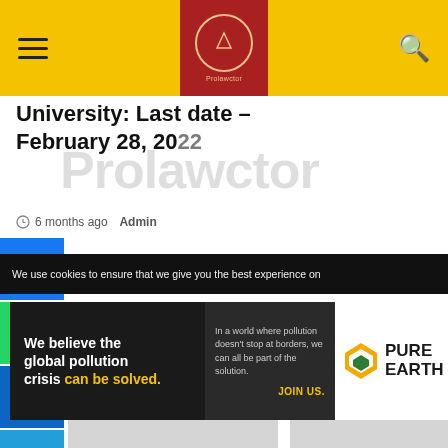Prolawctor
University: Last date – February 28, 2022
6 months ago  Admin
[Figure (screenshot): Two image placeholders (grey rectangles) side by side below social sharing buttons]
We use cookies to ensure that we give you the best experience on
[Figure (illustration): Pure Earth advertisement banner: 'We believe the global pollution crisis can be solved.' with JOIN US call to action and Pure Earth logo]